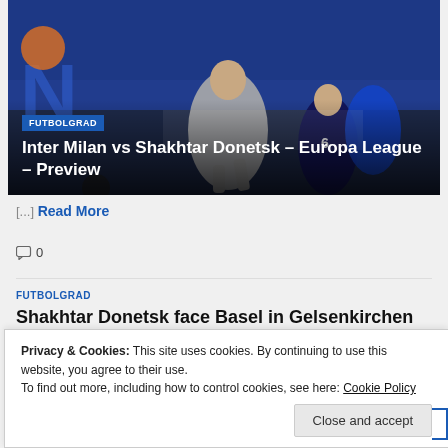[Figure (photo): Football match action photo showing players from two teams competing, one in gray kit and one in black and blue kit with number 6, with FUTBOLGRAD badge and article title overlay]
Inter Milan vs Shakhtar Donetsk – Europa League – Preview
[...] Read More
0
FUTBOLGRAD
Shakhtar Donetsk face Basel in Gelsenkirchen
Privacy & Cookies: This site uses cookies. By continuing to use this website, you agree to their use.
To find out more, including how to control cookies, see here: Cookie Policy